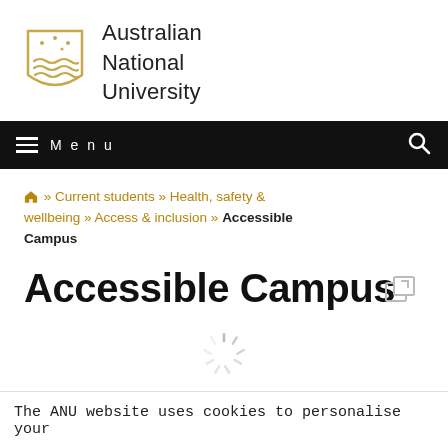[Figure (logo): Australian National University logo: gold shield with stars and waves, beside text 'Australian National University']
Menu
🏠 » Current students » Health, safety & wellbeing » Access & inclusion » Accessible Campus
Accessible Campus
[Figure (other): Map expand/fullscreen icon (grey square with arrow)]
[Figure (other): Loading spinner animation]
The ANU website uses cookies to personalise your